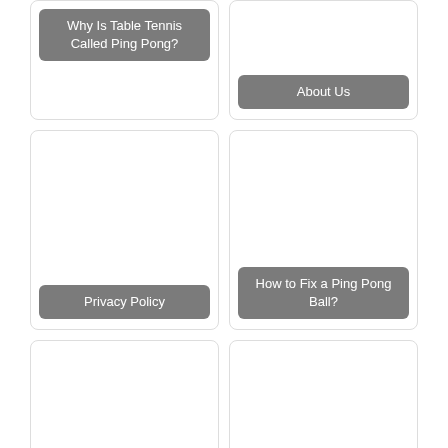[Figure (screenshot): Card with label 'Why Is Table Tennis Called Ping Pong?']
[Figure (screenshot): Card with label 'About Us']
[Figure (screenshot): Card with label 'Privacy Policy']
[Figure (screenshot): Card with label 'How to Fix a Ping Pong Ball?']
[Figure (screenshot): Card with label 'Affiliate Disclaimer']
[Figure (screenshot): Card with label 'Basic Ping Pong Rules for Dummies']